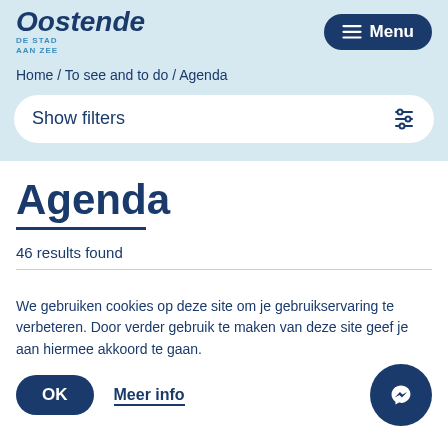[Figure (logo): Oostende De Stad Aan Zee logo with stylized cursive text]
≡ Menu
Home / To see and to do / Agenda
Show filters
Agenda
46 results found
We gebruiken cookies op deze site om je gebruikservaring te verbeteren. Door verder gebruik te maken van deze site geef je aan hiermee akkoord te gaan.
OK
Meer info